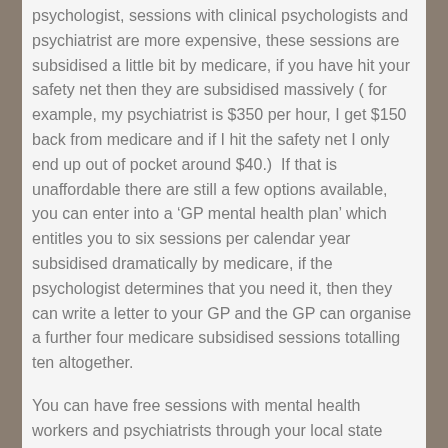psychologist, sessions with clinical psychologists and psychiatrist are more expensive, these sessions are subsidised a little bit by medicare, if you have hit your safety net then they are subsidised massively ( for example, my psychiatrist is $350 per hour, I get $150 back from medicare and if I hit the safety net I only end up out of pocket around $40.)  If that is unaffordable there are still a few options available, you can enter into a 'GP mental health plan' which entitles you to six sessions per calendar year subsidised dramatically by medicare, if the psychologist determines that you need it, then they can write a letter to your GP and the GP can organise a further four medicare subsidised sessions totalling ten altogether.
You can have free sessions with mental health workers and psychiatrists through your local state mental health service if you are having an acute episode of mental illness or are in a crisis situation, unfortunately because these are government run there is limited funding, sessions are short and only